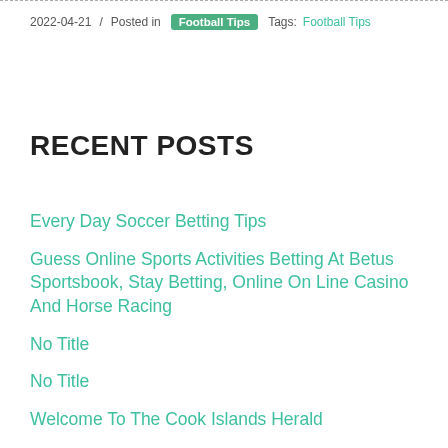2022-04-21 / Posted in Football Tips Tags: Football Tips
RECENT POSTS
Every Day Soccer Betting Tips
Guess Online Sports Activities Betting At Betus Sportsbook, Stay Betting, Online On Line Casino And Horse Racing
No Title
No Title
Welcome To The Cook Islands Herald